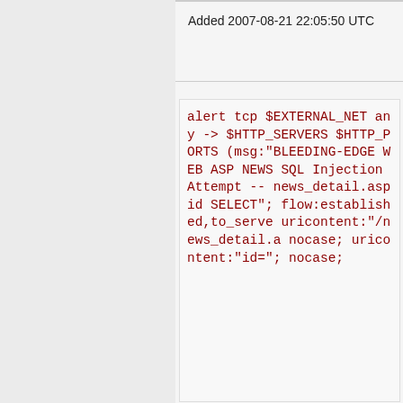Added 2007-08-21 22:05:50 UTC
alert tcp $EXTERNAL_NET any -> $HTTP_SERVERS $HTTP_PORTS (msg:"BLEEDING-EDGE WEB ASP NEWS SQL Injection Attempt -- news_detail.asp id SELECT"; flow:established,to_server; uricontent:"/news_detail.asp"; nocase; uricontent:"id="; nocase;